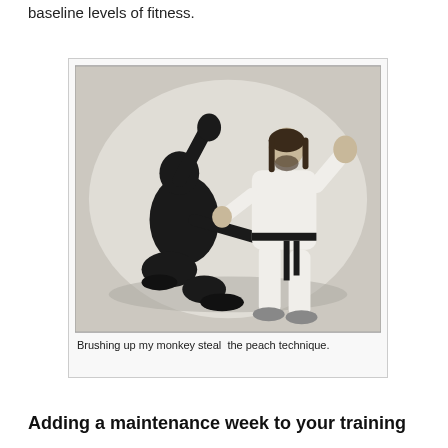baseline levels of fitness.
[Figure (photo): Black and white photograph of two martial artists. One person dressed in dark ninja-style clothing is kneeling on the ground reaching upward, while the other person in a white karate gi with a black belt stands in a defensive stance with hands raised.]
Brushing up my monkey steal  the peach technique.
Adding a maintenance week to your training